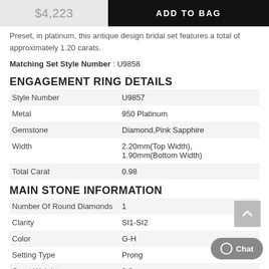$4,223 | ADD TO BAG
Preset, in platinum, this antique design bridal set features a total of approximately 1.20 carats.
Matching Set Style Number : U9858
ENGAGEMENT RING DETAILS
|  |  |
| --- | --- |
| Style Number | U9857 |
| Metal | 950 Platinum |
| Gemstone | Diamond,Pink Sapphire |
| Width | 2.20mm(Top Width), 1.90mm(Bottom Width) |
| Total Carat | 0.98 |
MAIN STONE INFORMATION
|  |  |
| --- | --- |
| Number Of Round Diamonds | 1 |
| Clarity | SI1-SI2 |
| Color | G-H |
| Setting Type | Prong |
| Carat Weight | 0.8 |